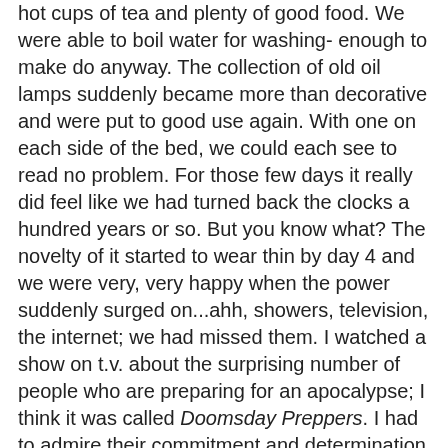hot cups of tea and plenty of good food.  We were able to boil water for washing- enough to make do anyway. The collection of old oil lamps suddenly became more than decorative and were put to good use again.  With one on each side of the bed, we could each see to read no problem. For those few days  it really did feel like we had turned back the clocks a hundred years or so.  But you know what? The novelty of it started to wear thin by day 4 and we were very, very  happy when the power suddenly surged on...ahh, showers, television, the internet; we had missed them. I watched a show on t.v. about the surprising number of people who are preparing for an apocalypse; I think it was called Doomsday Preppers.  I had to admire their commitment and determination to look out for their families no matter what, even while often ridiculed for it. Our experience reminded me of that.
The freezing rain storm taught us several  things...
We now have several cases of drinking water in reserve and a small holding tank of water for general use.
We also bought extra lamp oil to keep on hand.
We do need to keep a workable generator; ours saved our freezer load of food.
We do need to till have a back up...